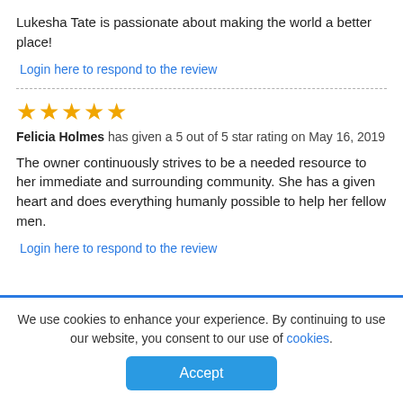Lukesha Tate is passionate about making the world a better place!
Login here to respond to the review
★★★★★ Felicia Holmes has given a 5 out of 5 star rating on May 16, 2019
The owner continuously strives to be a needed resource to her immediate and surrounding community. She has a given heart and does everything humanly possible to help her fellow men.
Login here to respond to the review
We use cookies to enhance your experience. By continuing to use our website, you consent to our use of cookies.